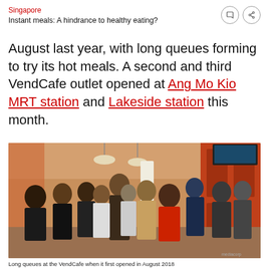Singapore
Instant meals: A hindrance to healthy eating?
August last year, with long queues forming to try its hot meals. A second and third VendCafe outlet opened at Ang Mo Kio MRT station and Lakeside station this month.
[Figure (photo): A crowd of people queuing inside a VendCafe outlet, with orange vending machines visible on the right side. The interior shows pendant lights and a modern food court setting.]
Long queues at the VendCafe when it first opened in August 2018